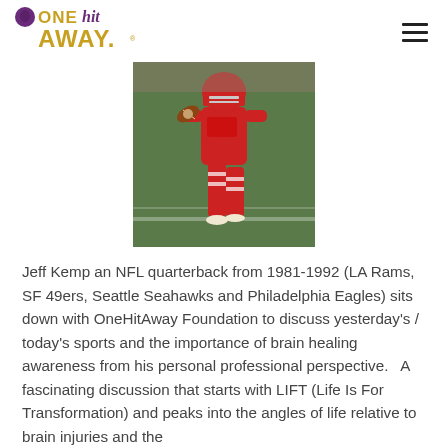One Hit Away logo and navigation
[Figure (photo): NFL quarterback in red uniform mid-motion on a football field]
Jeff Kemp an NFL quarterback from 1981-1992 (LA Rams, SF 49ers, Seattle Seahawks and Philadelphia Eagles) sits down with OneHitAway Foundation to discuss yesterday's / today's sports and the importance of brain healing awareness from his personal professional perspective.   A fascinating discussion that starts with LIFT (Life Is For Transformation) and peaks into the angles of life relative to brain injuries and the